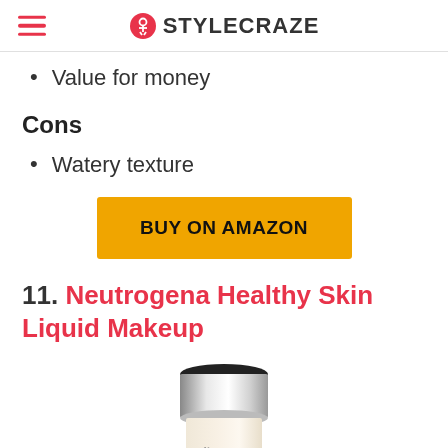STYLECRAZE
Value for money
Cons
Watery texture
BUY ON AMAZON
11. Neutrogena Healthy Skin Liquid Makeup
[Figure (photo): Bottle of Neutrogena Healthy Skin liquid makeup with a silver and black cap]